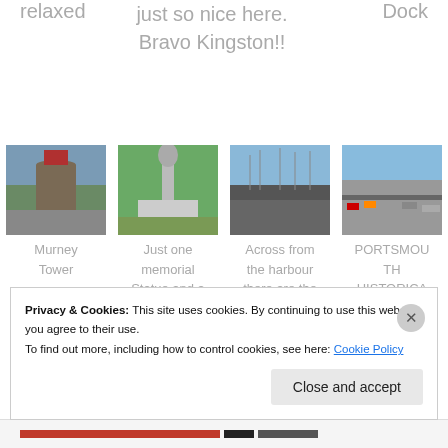relaxed
just so nice here. Bravo Kingston!!
Dock
[Figure (photo): Murney Tower - cylindrical stone tower with red roof against blue sky]
Murney Tower
[Figure (photo): Memorial statue in park with green trees]
Just one memorial Statue and a little glimpse of what City
[Figure (photo): Sailboats in harbour]
Across from the harbour there are the windmills
[Figure (photo): Portsmouth Historical Harbour aerial view with cars and marina]
PORTSMOUTH HISTORICAL HARBOUR
Privacy & Cookies: This site uses cookies. By continuing to use this website, you agree to their use.
To find out more, including how to control cookies, see here: Cookie Policy
Close and accept